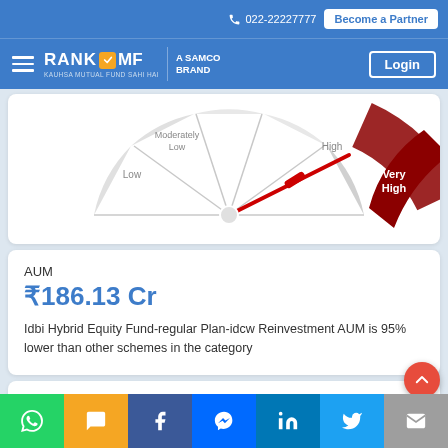📞 022-22227777  Become a Partner  Login
[Figure (other): Risk gauge meter showing 'Very High' risk level, with the needle pointing to the red 'Very High' segment on the right side. Labels visible: Low, Moderately Low, High, Very High.]
AUM
₹186.13 Cr
Idbi Hybrid Equity Fund-regular Plan-idcw Reinvestment AUM is 95% lower than other schemes in the category